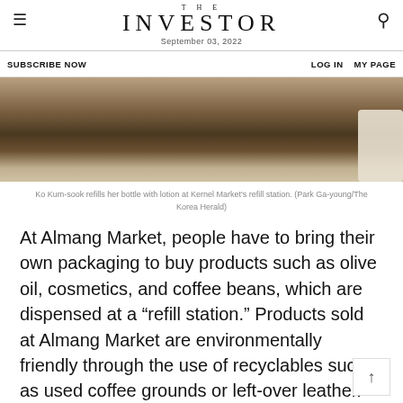THE INVESTOR — September 03, 2022
SUBSCRIBE NOW   LOG IN   MY PAGE
[Figure (photo): A person refilling a bottle at a lotion refill station in Kernel Market.]
Ko Kum-sook refills her bottle with lotion at Kernel Market's refill station. (Park Ga-young/The Korea Herald)
At Almang Market, people have to bring their own packaging to buy products such as olive oil, cosmetics, and coffee beans, which are dispensed at a “refill station.” Products sold at Almang Market are environmentally friendly through the use of recyclables such as used coffee grounds or left-over leather.